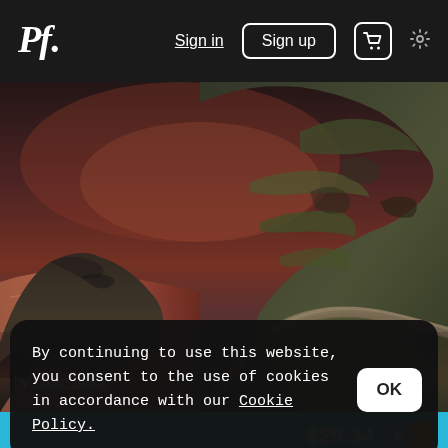Pf. Sign in Sign up [cart] [settings]
[Figure (photo): Coastal cliff landscape at sunset/dusk with a winding path along rocky green hillside cliffs, pink-orange sky reflected on water below, dramatic rocky formations]
by Dawn Black
$29.34
By continuing to use this website, you consent to the use of cookies in accordance with our Cookie Policy.
OK
[Figure (photo): Partial view of a second landscape photo showing sky and water at the bottom of the page]